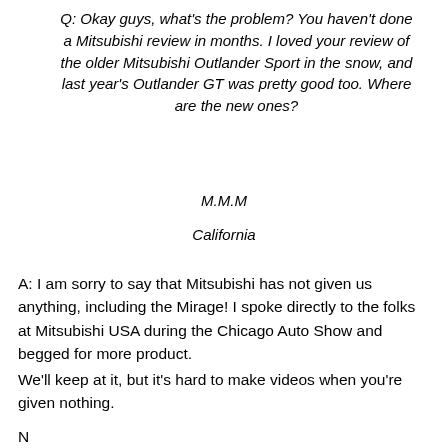Q: Okay guys, what's the problem? You haven't done a Mitsubishi review in months. I loved your review of the older Mitsubishi Outlander Sport in the snow, and last year's Outlander GT was pretty good too. Where are the new ones?
M.M.M
California
A: I am sorry to say that Mitsubishi has not given us anything, including the Mirage! I spoke directly to the folks at Mitsubishi USA during the Chicago Auto Show and begged for more product.
We'll keep at it, but it's hard to make videos when you're given nothing.
N